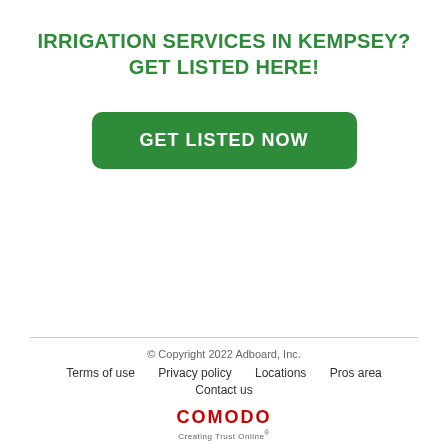IRRIGATION SERVICES IN KEMPSEY?
GET LISTED HERE!
[Figure (other): Green rounded rectangle button with white bold text reading GET LISTED NOW]
© Copyright 2022 Adboard, Inc.
Terms of use   Privacy policy   Locations   Pros area
Contact us
COMODO Creating Trust Online®